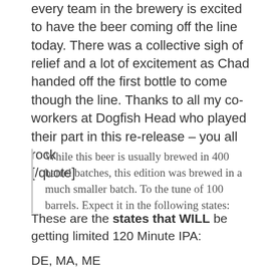every team in the brewery is excited to have the beer coming off the line today. There was a collective sigh of relief and a lot of excitement as Chad handed off the first bottle to come though the line. Thanks to all my co-workers at Dogfish Head who played their part in this re-release – you all rock
[/quote]
While this beer is usually brewed in 400 barrel batches, this edition was brewed in a much smaller batch. To the tune of 100 barrels. Expect it in the following states:
These are the states that WILL be getting limited 120 Minute IPA:
DE, MA, ME